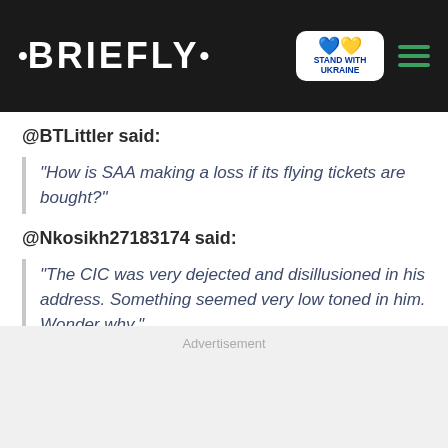• BRIEFLY •
@BTLittler said:
"How is SAA making a loss if its flying tickets are bought?"
@Nkosikh27183174 said:
"The CIC was very dejected and disillusioned in his address. Something seemed very low toned in him. Wonder why."
@EustaceThabiso said:
Advertisement